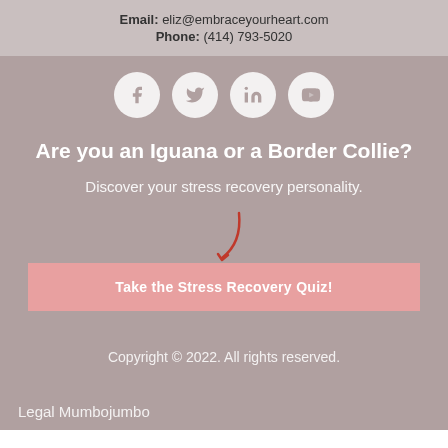Email: eliz@embraceyourheart.com
Phone: (414) 793-5020
[Figure (infographic): Four social media icon circles: Facebook (f), Twitter (bird), LinkedIn (in), YouTube]
Are you an Iguana or a Border Collie?
Discover your stress recovery personality.
[Figure (illustration): A red curved arrow pointing downward toward the quiz button]
Take the Stress Recovery Quiz!
Copyright © 2022. All rights reserved.
Legal Mumbojumbo